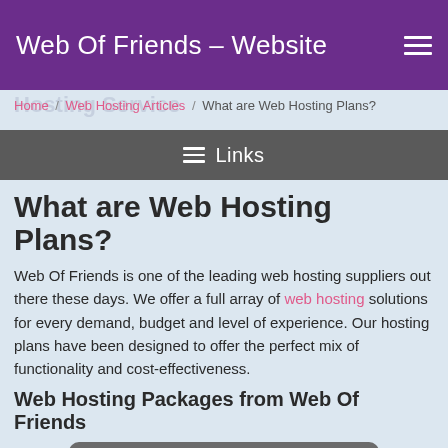Web Of Friends – Website
Home / Web Hosting Articles / What are Web Hosting Plans?
≡ Links
What are Web Hosting Plans?
Web Of Friends is one of the leading web hosting suppliers out there these days. We offer a full array of web hosting solutions for every demand, budget and level of experience. Our hosting plans have been designed to offer the perfect mix of functionality and cost-effectiveness.
Web Hosting Packages from Web Of Friends
ADVANCED